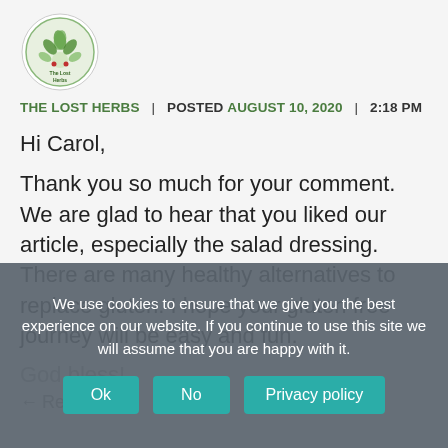[Figure (logo): The Lost Herbs circular logo with herbs/plants illustration]
THE LOST HERBS | POSTED AUGUST 10, 2020 | 2:18 PM
Hi Carol,

Thank you so much for your comment. We are glad to hear that you liked our article, especially the salad dressing. There are many healthy alternatives to replace gluten. I hope your gluten free journey will be easy and fun.
God bless!
Reply
We use cookies to ensure that we give you the best experience on our website. If you continue to use this site we will assume that you are happy with it.